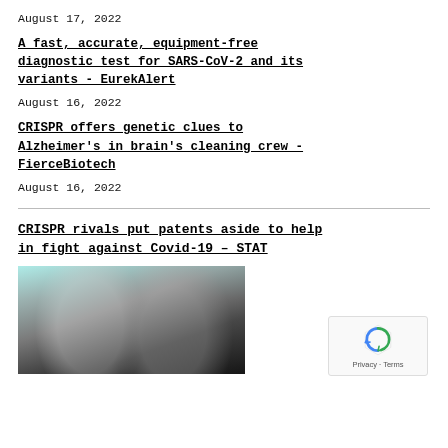August 17, 2022
A fast, accurate, equipment-free diagnostic test for SARS-CoV-2 and its variants - EurekAlert
August 16, 2022
CRISPR offers genetic clues to Alzheimer's in brain's cleaning crew - FierceBiotech
August 16, 2022
CRISPR rivals put patents aside to help in fight against Covid-19 – STAT
[Figure (photo): Black and white photo of two researchers, a woman with short light hair and a man with glasses, with teal color accent overlay]